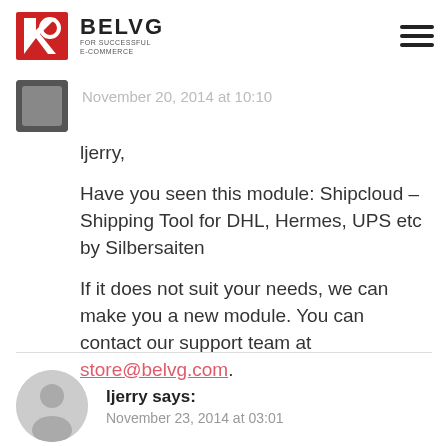BELVG FOR SUCCESSFUL E-COMMERCE
November 20, 2014 at 10:10
ljerry,
Have you seen this module: Shipcloud – Shipping Tool for DHL, Hermes, UPS etc by Silbersaiten
If it does not suit your needs, we can make you a new module. You can contact our support team at store@belvg.com.
ljerry says:
November 23, 2014 at 03:01